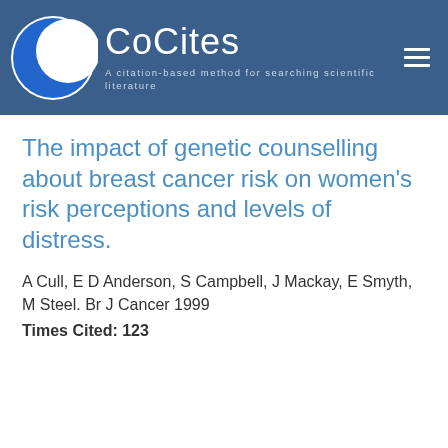CoCites — A citation-based method for searching scientific literature
The impact of genetic counselling about breast cancer risk on women's risk perceptions and levels of distress.
A Cull, E D Anderson, S Campbell, J Mackay, E Smyth, M Steel. Br J Cancer 1999
Times Cited: 123